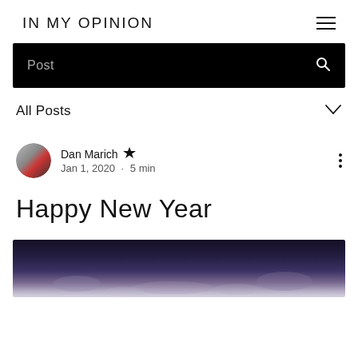IN MY OPINION
Post
All Posts
Dan Marich  Admin
Jan 1, 2020 · 5 min
Happy New Year
[Figure (photo): Dark blurry cityscape or crowd photo at night, partially visible at bottom of page]